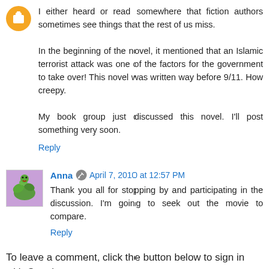I either heard or read somewhere that fiction authors sometimes see things that the rest of us miss.
In the beginning of the novel, it mentioned that an Islamic terrorist attack was one of the factors for the government to take over! This novel was written way before 9/11. How creepy.
My book group just discussed this novel. I'll post something very soon.
Reply
Anna  April 7, 2010 at 12:57 PM
Thank you all for stopping by and participating in the discussion. I'm going to seek out the movie to compare.
Reply
To leave a comment, click the button below to sign in with Google.